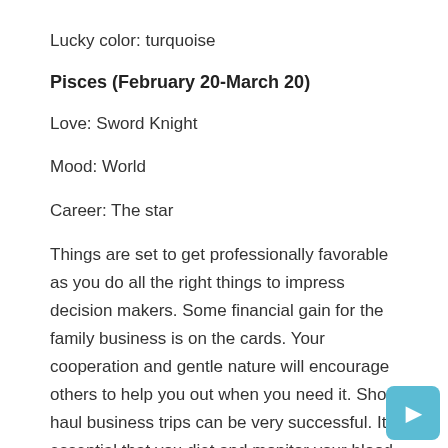Lucky color: turquoise
Pisces (February 20-March 20)
Love: Sword Knight
Mood: World
Career: The star
Things are set to get professionally favorable as you do all the right things to impress decision makers. Some financial gain for the family business is on the cards. Your cooperation and gentle nature will encourage others to help you out when you need it. Short-haul business trips can be very successful. It is essential that you diet and monitor your blood sugar periodically. Students will be motivated and attentive to their studies. Transactions will remain on the profitable side for those involved in real estate. Those looking for love may find a short but sweet romantic encounter coming later this week.